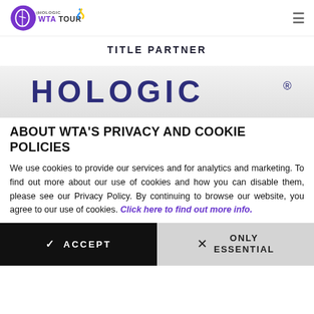[Figure (logo): Hologic WTA Tour logo with purple archer icon and blue-yellow ribbon, plus hamburger menu icon]
TITLE PARTNER
[Figure (logo): Hologic brand name in large dark blue uppercase letters on light gray banner]
ABOUT WTA'S PRIVACY AND COOKIE POLICIES
We use cookies to provide our services and for analytics and marketing. To find out more about our use of cookies and how you can disable them, please see our Privacy Policy. By continuing to browse our website, you agree to our use of cookies. Click here to find out more info.
ACCEPT
ONLY ESSENTIAL